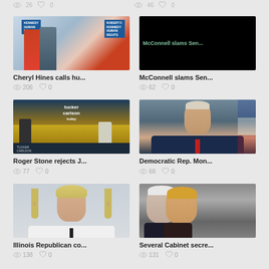26  0  |  46  0
[Figure (photo): Cheryl Hines and RFK Jr. at Kennedy Human Rights event]
Cheryl Hines calls hu...
206  0
[Figure (screenshot): Black thumbnail with McConnell slams Sen... text overlay]
McConnell slams Sen...
62  0
[Figure (screenshot): Tucker Carlson Today TV show set]
Roger Stone rejects J...
77  0
[Figure (photo): Joe Biden speaking at podium]
Democratic Rep. Mon...
68  0
[Figure (photo): Illinois Republican woman with blonde hair]
Illinois Republican co...
138  0
[Figure (photo): Mike Pence and Donald Trump side profile]
Several Cabinet secre...
131  0